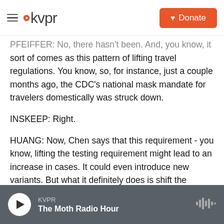KVPR | Donate
PFEIFFER: No, there hasn't been. And, you know, it sort of comes as this pattern of lifting travel regulations. You know, so, for instance, just a couple months ago, the CDC's national mask mandate for travelers domestically was struck down.
INSKEEP: Right.
HUANG: Now, Chen says that this requirement - you know, lifting the testing requirement might lead to an increase in cases. It could even introduce new variants. But what it definitely does is shift the burden from a legal regulation to individual
KVPR | The Moth Radio Hour